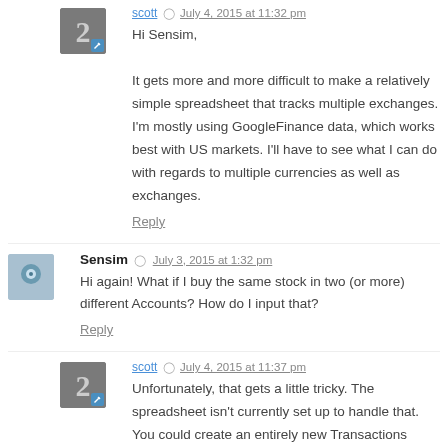scott  July 4, 2015 at 11:32 pm
Hi Sensim,

It gets more and more difficult to make a relatively simple spreadsheet that tracks multiple exchanges. I'm mostly using GoogleFinance data, which works best with US markets. I'll have to see what I can do with regards to multiple currencies as well as exchanges.
Reply
Sensim  July 3, 2015 at 1:32 pm
Hi again! What if I buy the same stock in two (or more) different Accounts? How do I input that?
Reply
scott  July 4, 2015 at 11:37 pm
Unfortunately, that gets a little tricky. The spreadsheet isn't currently set up to handle that. You could create an entirely new Transactions sheet for your second account, but then you'd have to update all the formulas initially yourself.